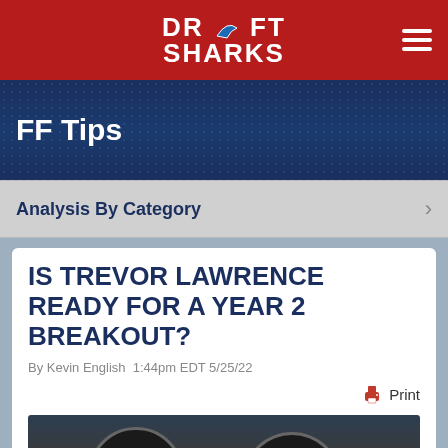DRAFT SHARKS
FF Tips
Analysis By Category
IS TREVOR LAWRENCE READY FOR A YEAR 2 BREAKOUT?
By Kevin English 1:44pm EDT 5/25/22
Print
[Figure (photo): Photo of football players wearing black helmets, Jacksonville Jaguars game photo]